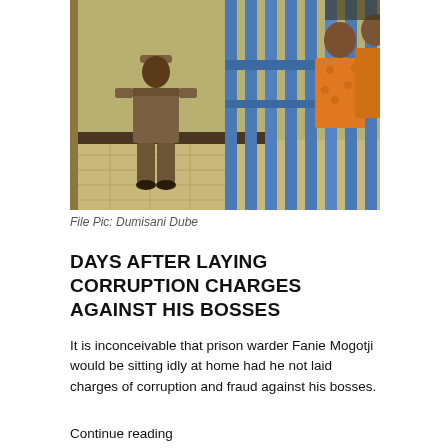[Figure (photo): A prison corridor scene showing a uniformed correctional officer standing by blue metal bars/gate, with inmates in orange jumpsuits visible behind the bars.]
File Pic: Dumisani Dube
DAYS AFTER LAYING CORRUPTION CHARGES AGAINST HIS BOSSES
It is inconceivable that prison warder Fanie Mogotji would be sitting idly at home had he not laid charges of corruption and fraud against his bosses.
Continue reading